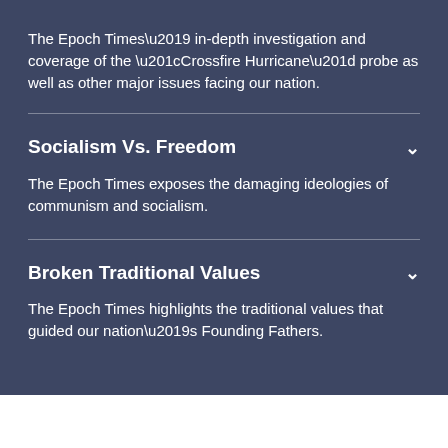The Epoch Times’ in-depth investigation and coverage of the “Crossfire Hurricane” probe as well as other major issues facing our nation.
Socialism Vs. Freedom
The Epoch Times exposes the damaging ideologies of communism and socialism.
Broken Traditional Values
The Epoch Times highlights the traditional values that guided our nation’s Founding Fathers.